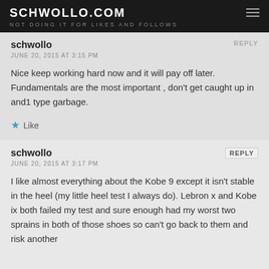SCHWOLLO.COM
NOT DOING IT FOR LIKES AND FOLLOWS
schwollo
JUNE 20, 2015 AT 3:15 PM
Nice keep working hard now and it will pay off later. Fundamentals are the most important , don't get caught up in and1 type garbage.
Like
schwollo
JUNE 20, 2015 AT 3:17 PM
I like almost everything about the Kobe 9 except it isn't stable in the heel (my little heel test I always do). Lebron x and Kobe ix both failed my test and sure enough had my worst two sprains in both of those shoes so can't go back to them and risk another